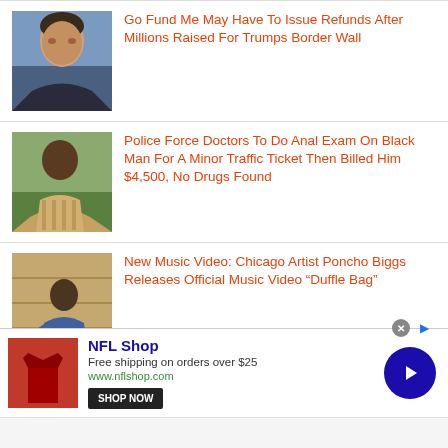Go Fund Me May Have To Issue Refunds After Millions Raised For Trumps Border Wall
Police Force Doctors To Do Anal Exam On Black Man For A Minor Traffic Ticket Then Billed Him $4,500, No Drugs Found
New Music Video: Chicago Artist Poncho Biggs Releases Official Music Video “Duffle Bag”
NFL Shop
Free shipping on orders over $25
www.nflshop.com
SHOP NOW